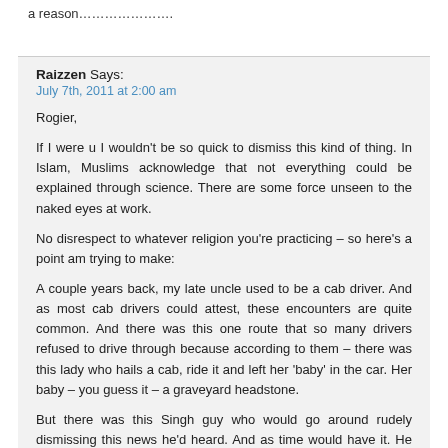a reason…………………..
Raizzen Says:
July 7th, 2011 at 2:00 am
Rogier,

If I were u I wouldn't be so quick to dismiss this kind of thing. In Islam, Muslims acknowledge that not everything could be explained through science. There are some force unseen to the naked eyes at work.

No disrespect to whatever religion you're practicing – so here's a point am trying to make:

A couple years back, my late uncle used to be a cab driver. And as most cab drivers could attest, these encounters are quite common. And there was this one route that so many drivers refused to drive through because according to them – there was this lady who hails a cab, ride it and left her 'baby' in the car. Her baby – you guess it – a graveyard headstone.

But there was this Singh guy who would go around rudely dismissing this news he'd heard. And as time would have it. He was hailed by a woman and unsuspectingly allowed her to get in the cab. Just for her to be missing leaving with her a rotting scent. Well I don't wanna get into too much details as am typing around 2.00 a.m after watching this Karak movie. It sucks. But still……………